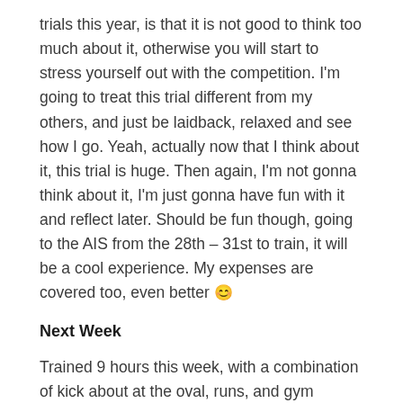trials this year, is that it is not good to think too much about it, otherwise you will start to stress yourself out with the competition. I'm going to treat this trial different from my others, and just be laidback, relaxed and see how I go. Yeah, actually now that I think about it, this trial is huge. Then again, I'm not gonna think about it, I'm just gonna have fun with it and reflect later. Should be fun though, going to the AIS from the 28th – 31st to train, it will be a cool experience. My expenses are covered too, even better 😊
Next Week
Trained 9 hours this week, with a combination of kick about at the oval, runs, and gym sessions. Missed 4 hours, which means I will have to do 14 hours worth of training next week. Usually I would reflect day by day on my performance next week,